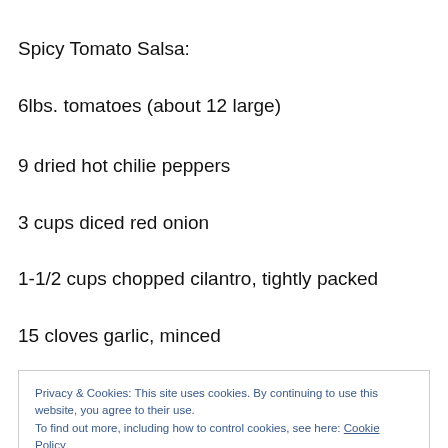Spicy Tomato Salsa:
6lbs. tomatoes (about 12 large)
9 dried hot chilie peppers
3 cups diced red onion
1-1/2 cups chopped cilantro, tightly packed
15 cloves garlic, minced
Privacy & Cookies: This site uses cookies. By continuing to use this website, you agree to their use.
To find out more, including how to control cookies, see here: Cookie Policy
3/4 cup red wine vinegar